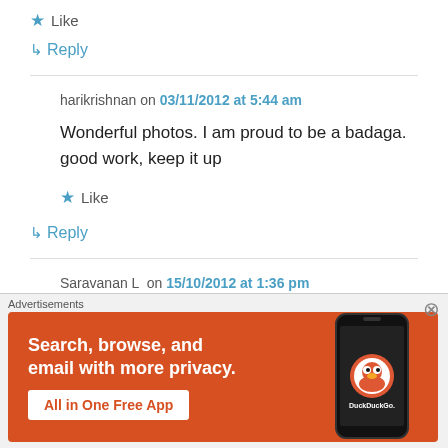★ Like
↳ Reply
harikrishnan on 03/11/2012 at 5:44 am
Wonderful photos. I am proud to be a badaga. good work, keep it up
★ Like
↳ Reply
Saravanan L on 15/10/2012 at 1:36 pm
Advertisements
[Figure (screenshot): DuckDuckGo advertisement banner: 'Search, browse, and email with more privacy. All in One Free App' with DuckDuckGo logo on phone mockup]